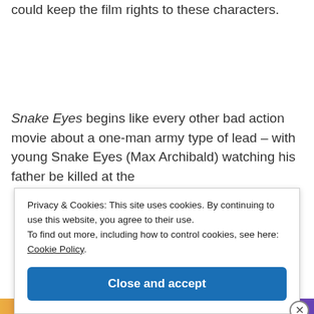could keep the film rights to these characters.
Snake Eyes begins like every other bad action movie about a one-man army type of lead – with young Snake Eyes (Max Archibald) watching his father be killed at the
Privacy & Cookies: This site uses cookies. By continuing to use this website, you agree to their use.
To find out more, including how to control cookies, see here: Cookie Policy
Close and accept